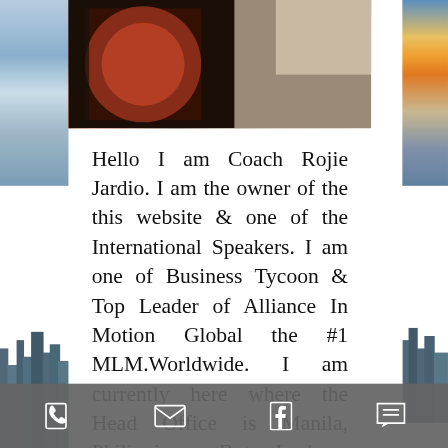[Figure (photo): Partial photo at top showing colorful clothing/fabric with red and orange patterns, partially visible person]
Hello I am Coach Rojie Jardio. I am the owner of the this website & one of the International Speakers. I am one of Business Tycoon & Top Leader of Alliance In Motion Global the #1 MLM.Worldwide. I am currently here where the Head Office is Manila, Philippines. But I keep coming back to Papua New Guinea to give further advice and help in building their business. Looking forward as well in coming their in your current country especially in Ghana.
I am earning six figures per week income as a Global Ambassador &
Achiever and Car Achiever in just 4